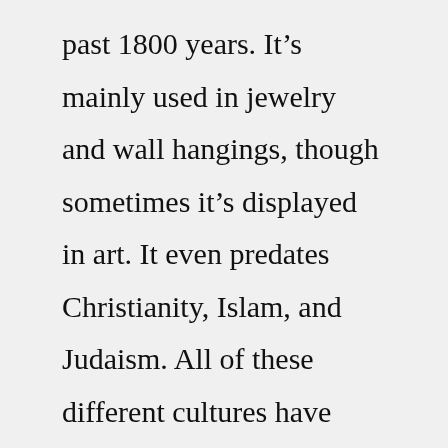past 1800 years. It's mainly used in jewelry and wall hangings, though sometimes it's displayed in art. It even predates Christianity, Islam, and Judaism. All of these different cultures have their own interpretation of the symbol: The amulet “Fatima's Hand” is worn in the form of a charm bracelet detail or as a separate pendant. Needless decoration is most often made of non-ferrous metals: silver, gold or copper. To know about the meaning of the